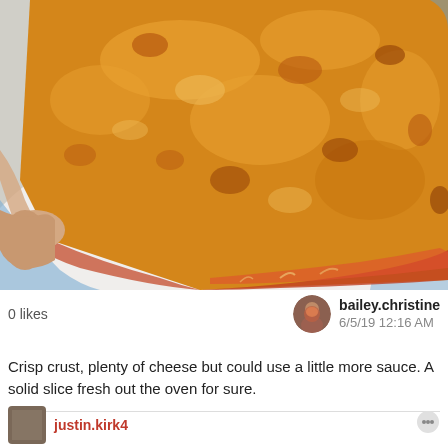[Figure (photo): Close-up photo of a cheese pizza slice on a white plate with blue decorative rim. A hand thumb is visible in the lower left holding the plate. The pizza slice has golden-brown melted cheese with reddish sauce visible at the crust edges.]
0 likes
bailey.christine
6/5/19 12:16 AM
Crisp crust, plenty of cheese but could use a little more sauce. A solid slice fresh out the oven for sure.
justin.kirk4